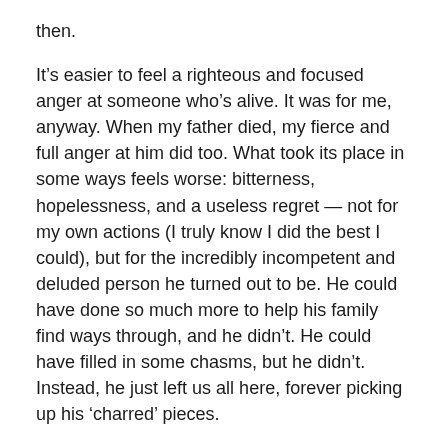then.
It’s easier to feel a righteous and focused anger at someone who’s alive. It was for me, anyway. When my father died, my fierce and full anger at him did too. What took its place in some ways feels worse: bitterness, hopelessness, and a useless regret — not for my own actions (I truly know I did the best I could), but for the incredibly incompetent and deluded person he turned out to be. He could have done so much more to help his family find ways through, and he didn’t. He could have filled in some chasms, but he didn’t. Instead, he just left us all here, forever picking up his ‘charred’ pieces.
Part 4 of my memoir Learning to Survive is a collection of 16 poems written while my father was dying, and directly after his death. I’m pasting three here. They are untitled, so this [...] denotes a new one. In my